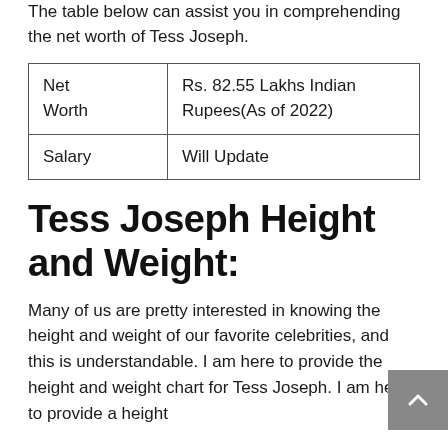The table below can assist you in comprehending the net worth of Tess Joseph.
| Net Worth | Rs. 82.55 Lakhs Indian Rupees(As of 2022) |
| Salary | Will Update |
Tess Joseph Height and Weight:
Many of us are pretty interested in knowing the height and weight of our favorite celebrities, and this is understandable. I am here to provide the height and weight chart for Tess Joseph. I am here to provide a height